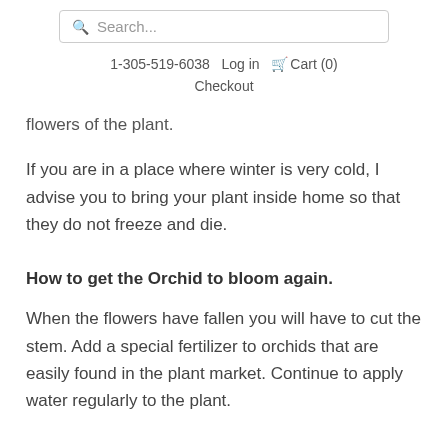Search... | 1-305-519-6038  Log in  Cart (0)  Checkout
flowers of the plant.
If you are in a place where winter is very cold, I advise you to bring your plant inside home so that they do not freeze and die.
How to get the Orchid to bloom again.
When the flowers have fallen you will have to cut the stem. Add a special fertilizer to orchids that are easily found in the plant market. Continue to apply water regularly to the plant.